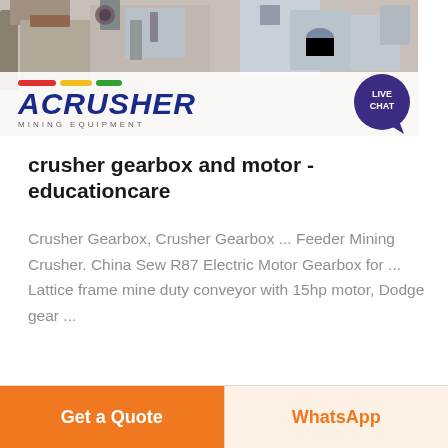[Figure (photo): Mining crusher machinery equipment photo with Acrusher Mining Equipment logo overlay showing colorful stripes (red, yellow, green) and blue bold italic ACRUSHER text with 'MINING EQUIPMENT' subtitle. A live chat speech bubble icon appears in the top right.]
crusher gearbox and motor - educationcare
Crusher Gearbox, Crusher Gearbox ... Feeder Mining Crusher. China Sew R87 Electric Motor Gearbox for ... Lattice frame mine duty conveyor with 15hp motor, Dodge gear ...
Get a Quote
WhatsApp